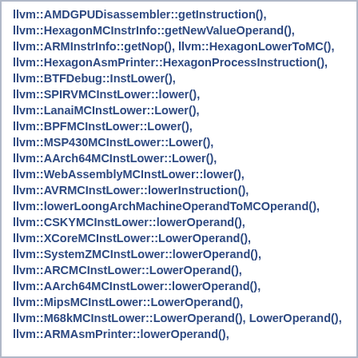llvm::AMDGPUDisassembler::getInstruction(),
llvm::HexagonMCInstrInfo::getNewValueOperand(),
llvm::ARMInstrInfo::getNop(), llvm::HexagonLowerToMC(),
llvm::HexagonAsmPrinter::HexagonProcessInstruction(),
llvm::BTFDebug::InstLower(),
llvm::SPIRVMCInstLower::lower(),
llvm::LanaiMCInstLower::Lower(),
llvm::BPFMCInstLower::Lower(),
llvm::MSP430MCInstLower::Lower(),
llvm::AArch64MCInstLower::Lower(),
llvm::WebAssemblyMCInstLower::lower(),
llvm::AVRMCInstLower::lowerInstruction(),
llvm::lowerLoongArchMachineOperandToMCOperand(),
llvm::CSKYMCInstLower::lowerOperand(),
llvm::XCoreMCInstLower::LowerOperand(),
llvm::SystemZMCInstLower::lowerOperand(),
llvm::ARCMCInstLower::LowerOperand(),
llvm::AArch64MCInstLower::lowerOperand(),
llvm::MipsMCInstLower::LowerOperand(),
llvm::M68kMCInstLower::LowerOperand(), LowerOperand(),
llvm::ARMAsmPrinter::lowerOperand(),